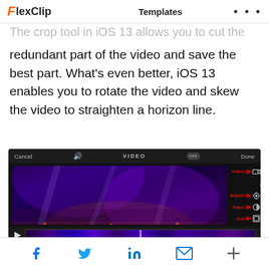FlexClip   Templates   ...
redundant part of the video and save the best part. What's even better, iOS 13 enables you to rotate the video and skew the video to straighten a horizon line.
[Figure (screenshot): iOS video editing interface screenshot showing Cancel, speaker icon, VIDEO label, Done in top bar; a concert video thumbnail with purple stage lighting; side icons labeled Video (camera), Adjust (sun), Filter (circle), Cut (crop) with red arrows pointing to each; filmstrip scrubber at bottom]
Facebook, Twitter, LinkedIn, Email share icons and + button